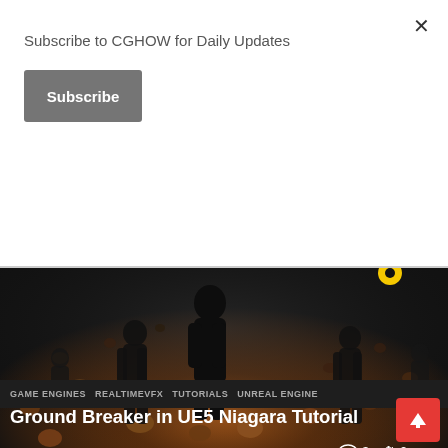Subscribe to CGHOW for Daily Updates
Subscribe
[Figure (screenshot): Dark cinematic scene showing silhouettes of characters walking through an explosion of rocks and debris with warm orange lighting. Shows view counter '3' and share counter '0' in bottom right.]
GAME ENGINES  REALTIMEVFX  TUTORIALS  UNREAL ENGINE
Ground Breaker in UE5 Niagara Tutorial
Download – https://cghow.gumroad.com/l/azqxljPatreon-https://www.patreon.com/AshifNET –